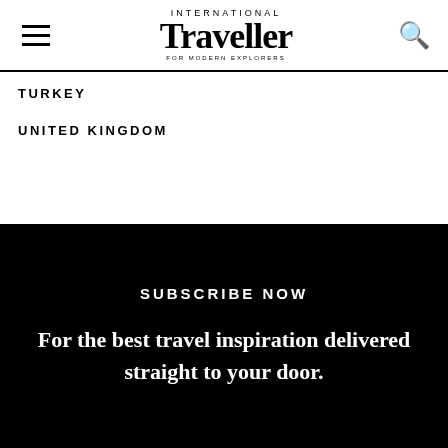International Traveller — FOR MODERN EXPLORERS
TURKEY
UNITED KINGDOM
SUBSCRIBE NOW
For the best travel inspiration delivered straight to your door.